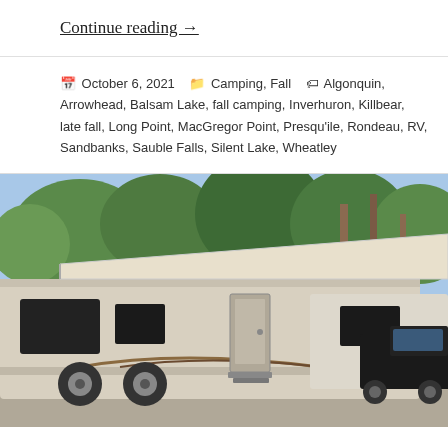Continue reading →
October 6, 2021   Camping, Fall   Algonquin, Arrowhead, Balsam Lake, fall camping, Inverhuron, Killbear, late fall, Long Point, MacGregor Point, Presqu'ile, Rondeau, RV, Sandbanks, Sauble Falls, Silent Lake, Wheatley
[Figure (photo): A woman sitting in a chair relaxing outside a large travel trailer/RV with an awning extended, parked at a campsite surrounded by trees, with a black pickup truck visible in the background.]